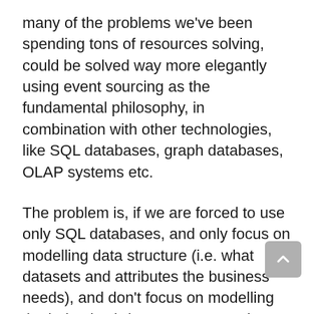many of the problems we've been spending tons of resources solving, could be solved way more elegantly using event sourcing as the fundamental philosophy, in combination with other technologies, like SQL databases, graph databases, OLAP systems etc.
The problem is, if we are forced to use only SQL databases, and only focus on modelling data structure (i.e. what datasets and attributes the business needs), and don't focus on modelling the behavior (what events are going on in the different business processes), then we are pretty much stuck. Shoehorning paper forms and paper maps into systems with no clue about the business processes worked in the 90's – not today!